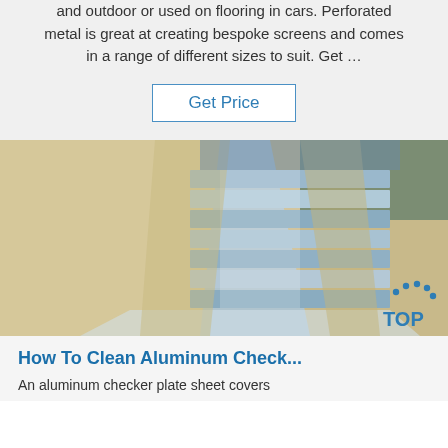and outdoor or used on flooring in cars. Perforated metal is great at creating bespoke screens and comes in a range of different sizes to suit. Get …
Get Price
[Figure (photo): Stacked aluminum sheets wrapped in tan/beige protective paper and clear plastic, showing metallic blue-silver sheets in an open package viewed from above at an angle.]
[Figure (logo): TOP badge logo with blue dotted arc above the text TOP in blue letters]
How To Clean Aluminum Check...
An aluminum checker plate sheet covers